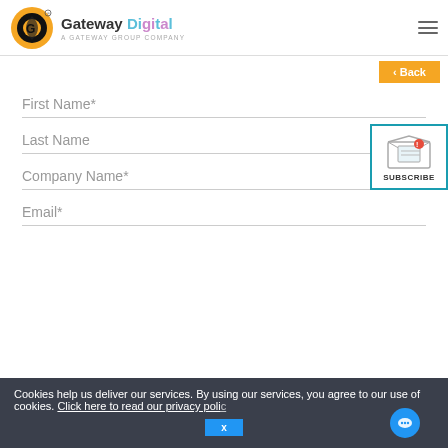Gateway Digital - A GATEWAY GROUP COMPANY
< Back
First Name*
Last Name
Company Name*
[Figure (illustration): Subscribe widget with envelope icon and SUBSCRIBE label, teal border]
Email*
Cookies help us deliver our services. By using our services, you agree to our use of cookies. Click here to read our privacy policy